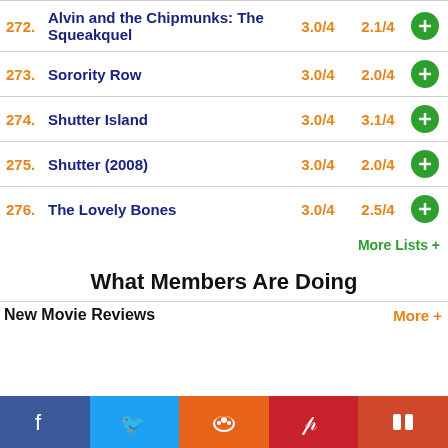272. Alvin and the Chipmunks: The Squeakquel  3.0/4  2.1/4
273. Sorority Row  3.0/4  2.0/4
274. Shutter Island  3.0/4  3.1/4
275. Shutter (2008)  3.0/4  2.0/4
276. The Lovely Bones  3.0/4  2.5/4
More Lists +
What Members Are Doing
New Movie Reviews
More +